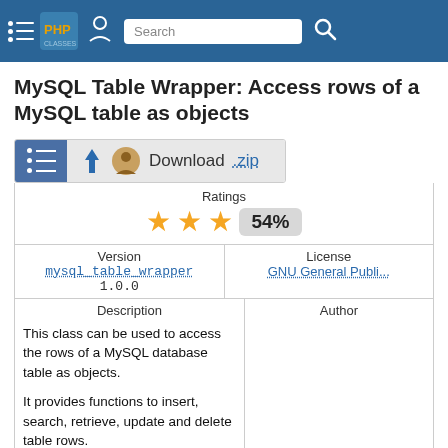PHP Classes — Search nav bar
MySQL Table Wrapper: Access rows of a MySQL table as objects
[Figure (other): Download button with list icon, avatar icon, Download .zip text]
Ratings
★★★ 54%
| Version | License |
| --- | --- |
| mysql_table_wrapper 1.0.0 | GNU General Publi... |
| Description | Author |
| --- | --- |
| This class can be used to access the rows of a MySQL database table as objects.

It provides functions to insert, search, retrieve, update and delete table rows. |  |